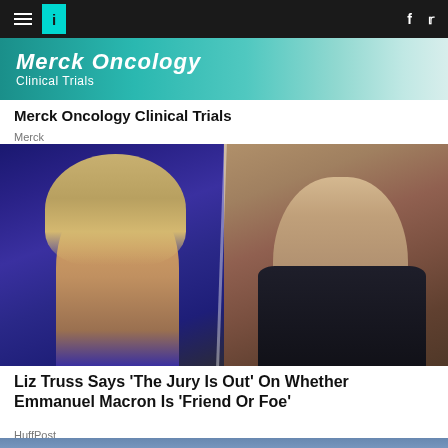HuffPost navigation bar with hamburger menu, logo, Facebook and Twitter icons
[Figure (photo): Merck Oncology Clinical Trials advertisement banner with teal/green background and medical imagery]
Merck Oncology Clinical Trials
Merck
[Figure (photo): Split image showing Liz Truss in purple jacket on left and Emmanuel Macron in dark suit with tie on right]
Liz Truss Says 'The Jury Is Out' On Whether Emmanuel Macron Is 'Friend Or Foe'
HuffPost
[Figure (photo): Partial view of a cityscape photo at the bottom of the page]